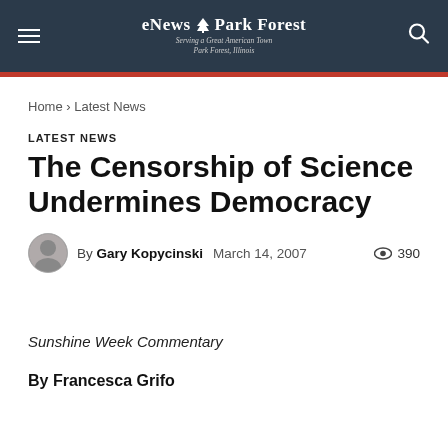eNews Park Forest — Serving a Great American Town, Park Forest, Illinois
Home › Latest News
LATEST NEWS
The Censorship of Science Undermines Democracy
By Gary Kopycinski   March 14, 2007   390 views
Sunshine Week Commentary
By Francesca Grifo